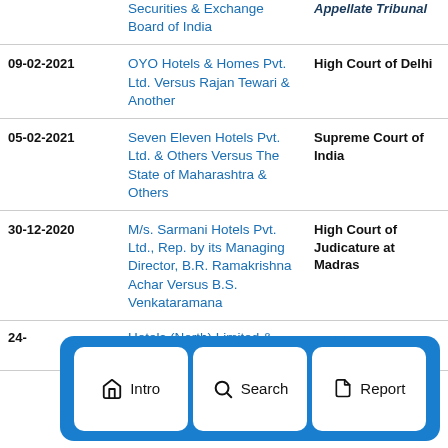| Date | Case | Court |
| --- | --- | --- |
|  | Securities & Exchange Board of India | Appellate Tribunal |
| 09-02-2021 | OYO Hotels & Homes Pvt. Ltd. Versus Rajan Tewari & Another | High Court of Delhi |
| 05-02-2021 | Seven Eleven Hotels Pvt. Ltd. & Others Versus The State of Maharashtra & Others | Supreme Court of India |
| 30-12-2020 | M/s. Sarmani Hotels Pvt. Ltd., Rep. by its Managing Director, B.R. Ramakrishna Achar Versus B.S. Venkataramana | High Court of Judicature at Madras |
| 24-... | ...Hotels (North) Limited & Another |  |
[Figure (infographic): Navigation bar overlay with three buttons: Intro (home icon), Search (magnifying glass icon), Report (document icon), displayed on a blue dashed-border rounded rectangle background]